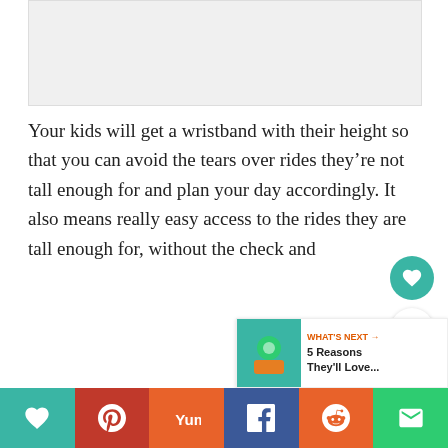[Figure (photo): Light gray placeholder image area at the top of the page]
Your kids will get a wristband with their height so that you can avoid the tears over rides they’re not tall enough for and plan your day accordingly. It also means really easy access to the rides they are tall enough for, without the check and
[Figure (infographic): What's Next box with thumbnail and text '5 Reasons They'll Love...']
[Figure (infographic): Social sharing bar at the bottom with heart, Pinterest, Yummly, Facebook, Reddit, and email buttons]